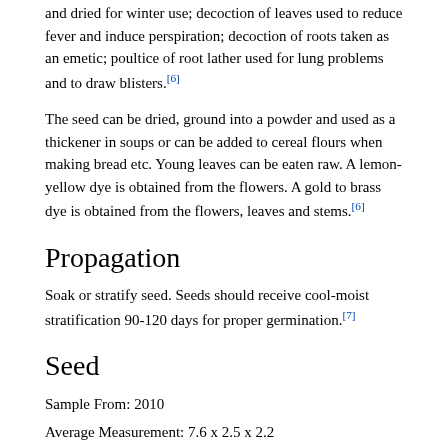and dried for winter use; decoction of leaves used to reduce fever and induce perspiration; decoction of roots taken as an emetic; poultice of root lather used for lung problems and to draw blisters.[6]
The seed can be dried, ground into a powder and used as a thickener in soups or can be added to cereal flours when making bread etc. Young leaves can be eaten raw. A lemon-yellow dye is obtained from the flowers. A gold to brass dye is obtained from the flowers, leaves and stems.[6]
Propagation
Soak or stratify seed. Seeds should receive cool-moist stratification 90-120 days for proper germination.[7]
Seed
Sample From: 2010
Average Measurement: 7.6 x 2.5 x 2.2
Measurement Range: L: 7 - 8, W: 2 - 3, D: 1.9 - 2.5